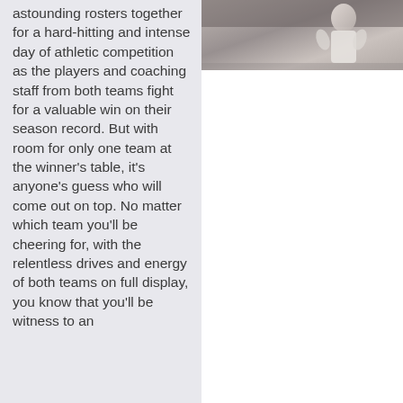astounding rosters together for a hard-hitting and intense day of athletic competition as the players and coaching staff from both teams fight for a valuable win on their season record. But with room for only one team at the winner's table, it's anyone's guess who will come out on top. No matter which team you'll be cheering for, with the relentless drives and energy of both teams on full display, you know that you'll be witness to an
[Figure (photo): A black and white or desaturated photo of a person in athletic/sports attire, cropped at top of page on the right column.]